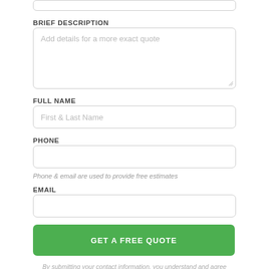[top input bar - partial]
BRIEF DESCRIPTION
Add details for a more exact quote
FULL NAME
First & Last Name
PHONE
Phone & email are used to provide free estimates
EMAIL
GET A FREE QUOTE
By submitting your contact information, you understand and agree